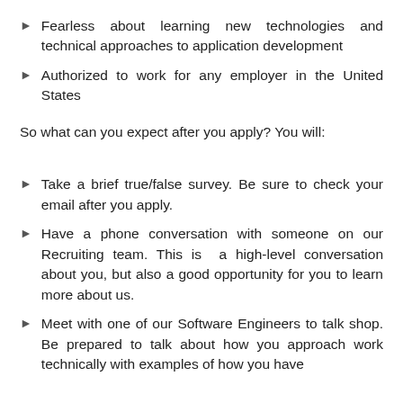Fearless about learning new technologies and technical approaches to application development
Authorized to work for any employer in the United States
So what can you expect after you apply? You will:
Take a brief true/false survey. Be sure to check your email after you apply.
Have a phone conversation with someone on our Recruiting team. This is a high-level conversation about you, but also a good opportunity for you to learn more about us.
Meet with one of our Software Engineers to talk shop. Be prepared to talk about how you approach work technically with examples of how you have